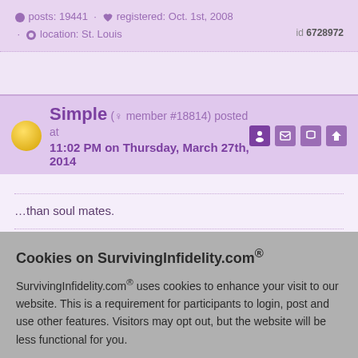posts: 19441 · registered: Oct. 1st, 2008 · location: St. Louis
id 6728972
Simple (♀ member #18814) posted at 11:02 PM on Thursday, March 27th, 2014
...than soul mates.
...owledge. There is
Cookies on SurvivingInfidelity.com®
SurvivingInfidelity.com® uses cookies to enhance your visit to our website. This is a requirement for participants to login, post and use other features. Visitors may opt out, but the website will be less functional for you.
accept
Policy